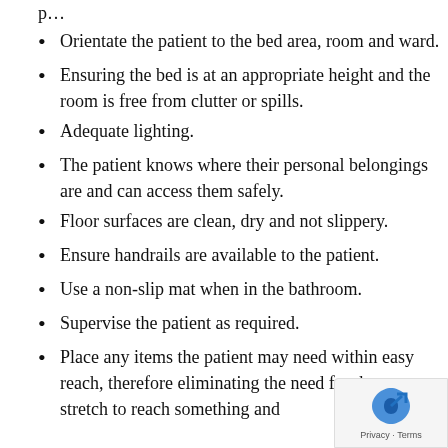Orientate the patient to the bed area, room and ward.
Ensuring the bed is at an appropriate height and the room is free from clutter or spills.
Adequate lighting.
The patient knows where their personal belongings are and can access them safely.
Floor surfaces are clean, dry and not slippery.
Ensure handrails are available to the patient.
Use a non-slip mat when in the bathroom.
Supervise the patient as required.
Place any items the patient may need within easy reach, therefore eliminating the need for them to stretch to reach something and